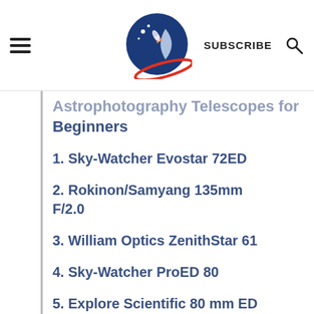SUBSCRIBE
Astrophotography Telescopes for Beginners
1. Sky-Watcher Evostar 72ED
2. Rokinon/Samyang 135mm F/2.0
3. William Optics ZenithStar 61
4. Sky-Watcher ProED 80
5. Explore Scientific 80 mm ED